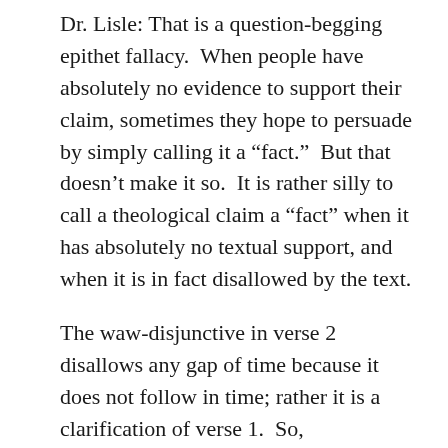Dr. Lisle: That is a question-begging epithet fallacy.  When people have absolutely no evidence to support their claim, sometimes they hope to persuade by simply calling it a “fact.”  But that doesn’t make it so.  It is rather silly to call a theological claim a “fact” when it has absolutely no textual support, and when it is in fact disallowed by the text.
The waw-disjunctive in verse 2 disallows any gap of time because it does not follow in time; rather it is a clarification of verse 1.  So, grammatically, a gap makes no sense.  Consider a sentence: “My new house is empty.”  Can you put a gap of time in between “my new house” and “is empty”?  That would be absurd because “is empty” describes the condition of